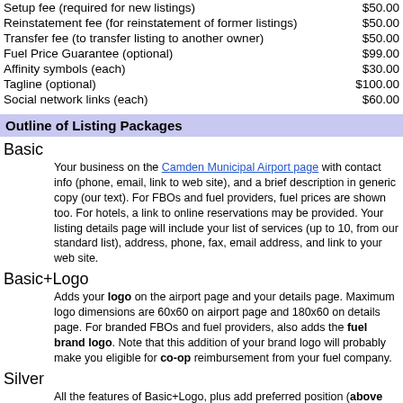| Fee Type | Price |
| --- | --- |
| Setup fee (required for new listings) | $50.00 |
| Reinstatement fee (for reinstatement of former listings) | $50.00 |
| Transfer fee (to transfer listing to another owner) | $50.00 |
| Fuel Price Guarantee (optional) | $99.00 |
| Affinity symbols (each) | $30.00 |
| Tagline (optional) | $100.00 |
| Social network links (each) | $60.00 |
Outline of Listing Packages
Basic
Your business on the Camden Municipal Airport page with contact info (phone, email, link to web site), and a brief description in generic copy (our text). For FBOs and fuel providers, fuel prices are shown too. For hotels, a link to online reservations may be provided. Your listing details page will include your list of services (up to 10, from our standard list), address, phone, fax, email address, and link to your web site.
Basic+Logo
Adds your logo on the airport page and your details page. Maximum logo dimensions are 60x60 on airport page and 180x60 on details page. For branded FBOs and fuel providers, also adds the fuel brand logo. Note that this addition of your brand logo will probably make you eligible for co-op reimbursement from your fuel company.
Silver
All the features of Basic+Logo, plus add preferred position (above your competitors' Basic listings, first come first served within Silver listings) on the airport page, and the ability to write your own text. You are no longer constrained by our standard copy, you can provide your...